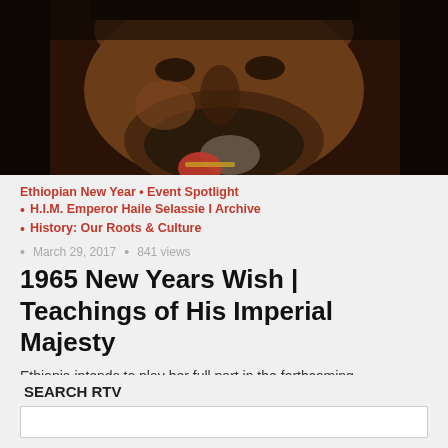[Figure (photo): Close-up photograph of an elderly man with a beard, wearing a red and gold medal or decoration, dark background]
Ethiopian New Year • Event Spotlight
• H.I.M. Emperor Haile Selassie I Archive
• History: Our Roots & Culture
• March 29, 2017 • 841 views
1965 New Years Wish | Teachings of His Imperial Majesty
Ethiopia intends to play her full part in the forthcoming international conclaves. Her principal and over-riding desire is to help...
SEARCH RTV